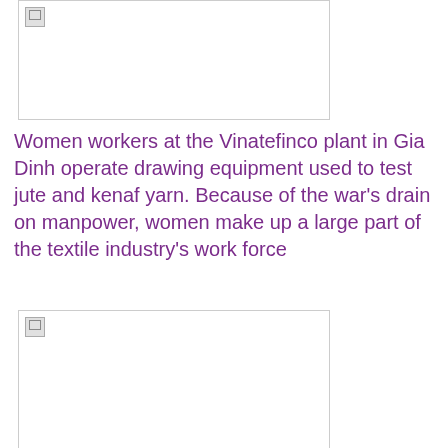[Figure (photo): Top photo placeholder showing women workers at Vinatefinco plant]
Women workers at the Vinatefinco plant in Gia Dinh operate drawing equipment used to test jute and kenaf yarn. Because of the war's drain on manpower, women make up a large part of the textile industry's work force
[Figure (photo): Bottom photo placeholder showing additional scene at Vinatefinco plant]